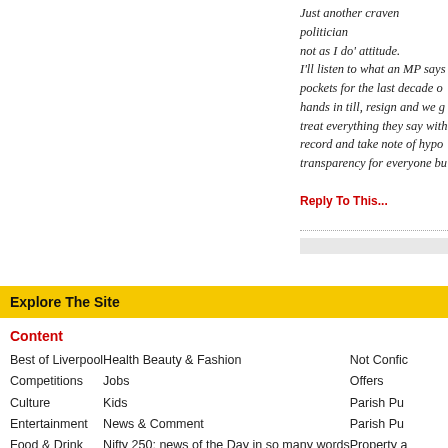Just another craven politician with a 'do not as I do' attitude. I'll listen to what an MP says when they keep their pockets for the last decade or so, don't have their hands in till, resign and we get the funds back. I'll treat everything they say with disdain. Vote them out, record and take note of hypocrisy and demand transparency for everyone bu
Reply To This...
[Figure (screenshot): Comment submission form with avatar placeholder and text input box]
Explore The Site
Content
Best of Liverpool
Competitions
Culture
Entertainment
Food & Drink
Health Beauty & Fashion
Jobs
Kids
News & Comment
Nifty 250: news of the Day in so many words
Not Confic
Offers
Parish Pu
Parish Pu
Property a